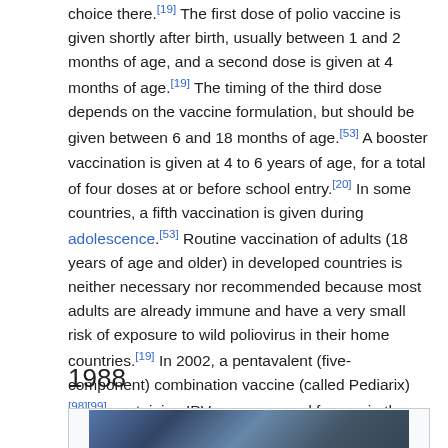choice there.[19] The first dose of polio vaccine is given shortly after birth, usually between 1 and 2 months of age, and a second dose is given at 4 months of age.[19] The timing of the third dose depends on the vaccine formulation, but should be given between 6 and 18 months of age.[53] A booster vaccination is given at 4 to 6 years of age, for a total of four doses at or before school entry.[20] In some countries, a fifth vaccination is given during adolescence.[53] Routine vaccination of adults (18 years of age and older) in developed countries is neither necessary nor recommended because most adults are already immune and have a very small risk of exposure to wild poliovirus in their home countries.[19] In 2002, a pentavalent (five-component) combination vaccine (called Pediarix)[98][99] containing IPV was approved for use in the United States.[100][99]
1988
[Figure (photo): Partial photo visible at bottom of page, appears to be a historical blue-toned photograph]